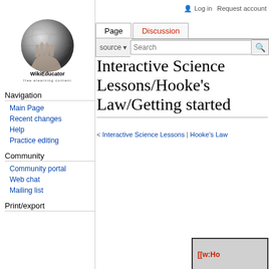Log in | Request account
[Figure (logo): WikiEducator logo — hand holding a globe, with text 'WikiEducator free elearning content']
Navigation
Main Page
Recent changes
Help
Practice editing
Community
Community portal
Web chat
Mailing list
Print/export
Interactive Science Lessons/Hooke's Law/Getting started
< Interactive Science Lessons | Hooke's Law
| Hooke's Law | Introduction | Getting started | The simulation | Lesson tasks | Conclusion | Resources and links |
[Figure (screenshot): Bottom preview area showing [[w:Ho...]